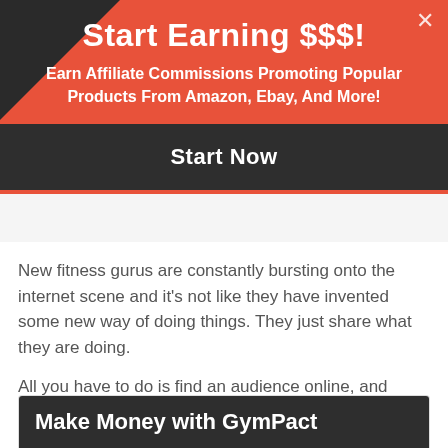Start Earning $$$!
Earn Affiliate Commissions Promoting Popular Products From Amazon, Ebay, And More!
Start Now
New fitness gurus are constantly bursting onto the internet scene and it's not like they have invented some new way of doing things. They just share what they are doing.
All you have to do is find an audience online, and that's something I can help you with.
Make Money with GymPact